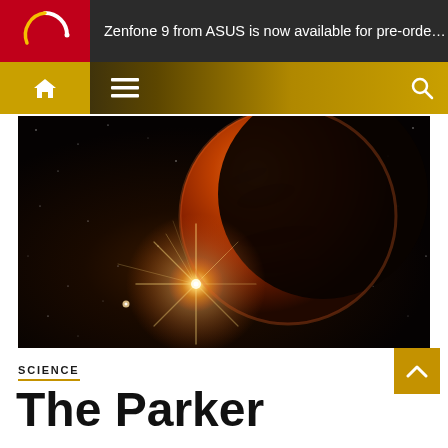Zenfone 9 from ASUS is now available for pre-order
[Figure (photo): Space illustration showing a crescent planet (resembling Mars) in dark space with a bright star/sun flare in the lower left and scattered stars in the background.]
SCIENCE
The Parker